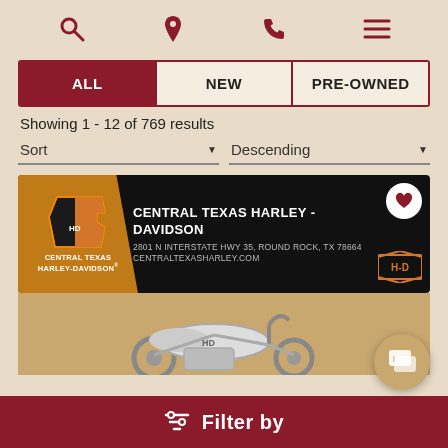[Figure (screenshot): Mobile website header navigation bar with search, location, phone, and menu icons]
ALL | NEW | PRE-OWNED (tab navigation, ALL selected)
Showing 1 - 12 of 769 results
Sort (dropdown) | Descending (dropdown)
[Figure (screenshot): Central Texas Harley-Davidson dealer banner with logo, address 2801 N INTERSTATE HWY 35, ROUND ROCK, TX 78664, CENTRALTEXASHARLEY.COM, Harley-Davidson shield logo, and heart favorite button]
[Figure (photo): Partial view of a motorcycle on a tan/gold background]
Filter by